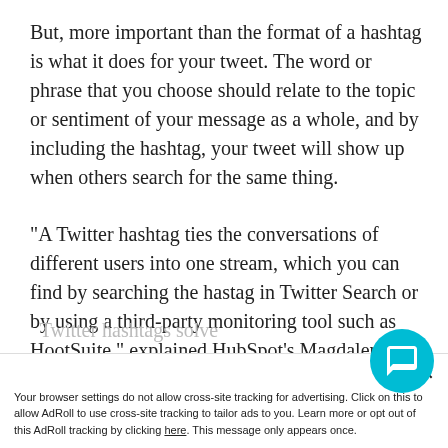But, more important than the format of a hashtag is what it does for your tweet. The word or phrase that you choose should relate to the topic or sentiment of your message as a whole, and by including the hashtag, your tweet will show up when others search for the same thing.
"A Twitter hashtag ties the conversations of different users into one stream, which you can find by searching the hastag in Twitter Search or by using a third-party monitoring tool such as HootSuite," explained HubSpot's Magdalena Georgieva in a recent blog post. "If Twitter users who are not otherwise connected talk about the same topi...
Your browser settings do not allow cross-site tracking for advertising. Click on this to allow AdRoll to use cross-site tracking to tailor ads to you. Learn more or opt out of this AdRoll tracking by clicking here. This message only appears once.